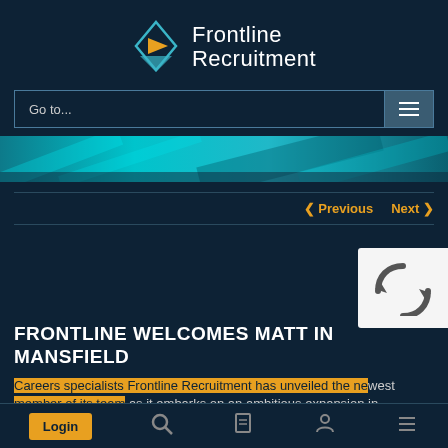[Figure (logo): Frontline Recruitment logo with orange arrow/diamond icon and white text]
Go to...
[Figure (photo): Teal/cyan colored banner image with architectural elements]
‹ Previous   Next ›
FRONTLINE WELCOMES MATT IN MANSFIELD
Careers specialists Frontline Recruitment has unveiled the newest member of its team as it embarks on an ambitious expansion in Mansfield.